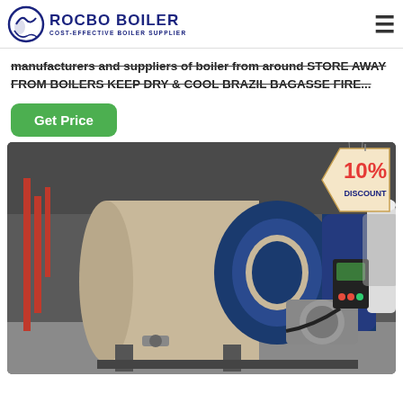[Figure (logo): Rocbo Boiler logo with circular icon and text 'ROCBO BOILER - COST-EFFECTIVE BOILER SUPPLIER']
manufacturers and suppliers of boiler from around STORE AWAY FROM BOILERS KEEP DRY & COOL BRAZIL BAGASSE FIRE...
Get Price
[Figure (photo): Industrial fire tube boiler in beige/tan color with blue front end, burner assembly, motor, and control panel, inside an industrial facility. A '10% DISCOUNT' badge is in the upper right corner.]